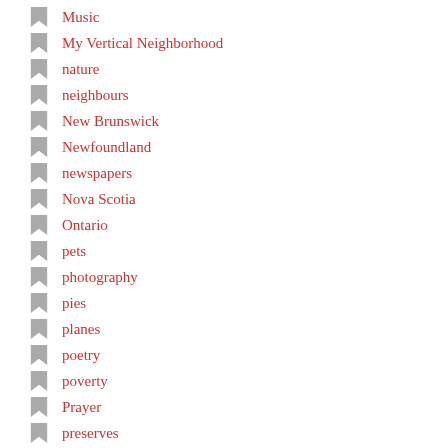Music
My Vertical Neighborhood
nature
neighbours
New Brunswick
Newfoundland
newspapers
Nova Scotia
Ontario
pets
photography
pies
planes
poetry
poverty
Prayer
preserves
Quebec